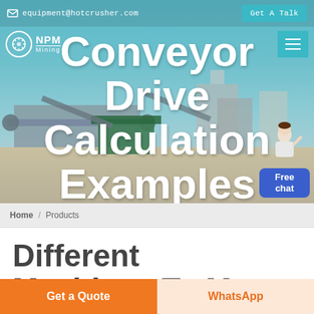equipment@hotcrusher.com  |  Get A Talk
[Figure (screenshot): Mining/crushing equipment facility with conveyor belts and industrial machinery set against a light blue sky background]
Conveyor Drive Calculation Examples
NPM Mining (logo with star emblem)
Free chat (support widget with female agent)
Home / Products
Different Machines To Meet All
Get a Quote
WhatsApp